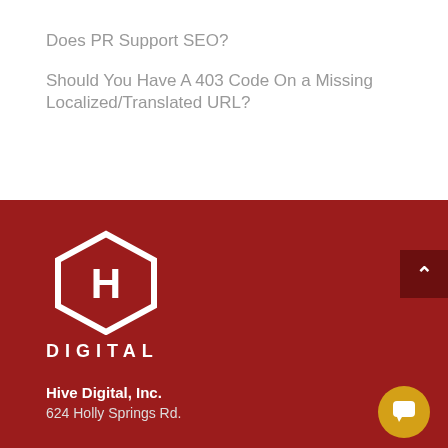Does PR Support SEO?
Should You Have A 403 Code On a Missing Localized/Translated URL?
[Figure (logo): Hive Digital hexagon logo with letter H and the word DIGITAL below it, white on dark red background]
Hive Digital, Inc.
624 Holly Springs Rd.